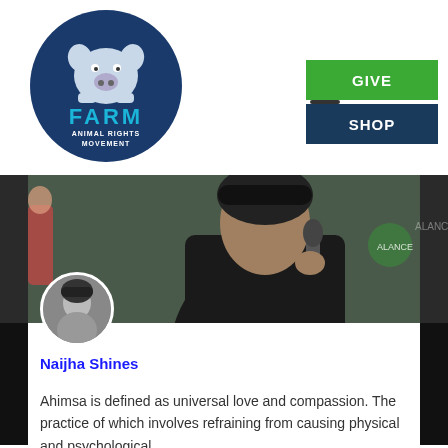[Figure (logo): FARM Animal Rights Movement circular logo with pig illustration and teal/blue coloring]
[Figure (illustration): Hamburger/menu icon (three horizontal lines)]
[Figure (illustration): Green GIVE button and dark blue SHOP button in top right navigation]
[Figure (photo): Photo of a person speaking into a microphone outdoors, wearing a black hoodie, with blurred background]
[Figure (photo): Small circular avatar/profile photo of Naijha Shines in black and white]
Naijha Shines
Ahimsa is defined as universal love and compassion. The practice of which involves refraining from causing physical and psychological